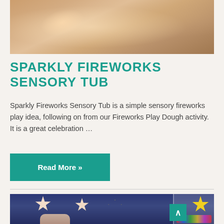[Figure (photo): Close-up photo of hands with glitter and sparkly sensory material in a tub, warm sandy tones]
SPARKLY FIREWORKS SENSORY TUB
Sparkly Fireworks Sensory Tub is a simple sensory fireworks play idea, following on from our Fireworks Play Dough activity. It is a great celebration …
Read More »
[Figure (photo): Photo of star-shaped play dough pieces and a star cookie cutter on a dark blue surface, with colorful beads and star cutters in a white tray to the right]